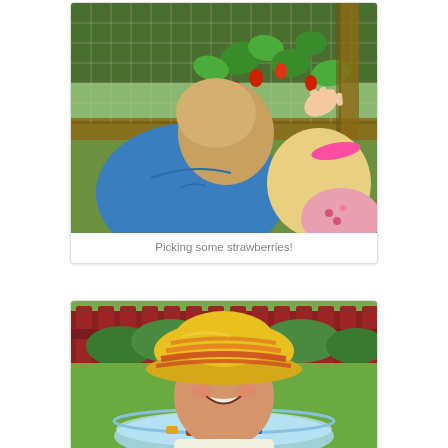[Figure (photo): Two children (a boy in a blue t-shirt and a girl with a pink headband) seen from behind, reaching toward strawberry plants growing on a raised wooden planter covered with wire mesh netting.]
Picking some strawberries!
[Figure (photo): A young smiling girl wearing a yellow and red striped sun hat, standing in front of a red wooden picket fence, with a kiddie pool filled with toys visible in the background on a green lawn.]